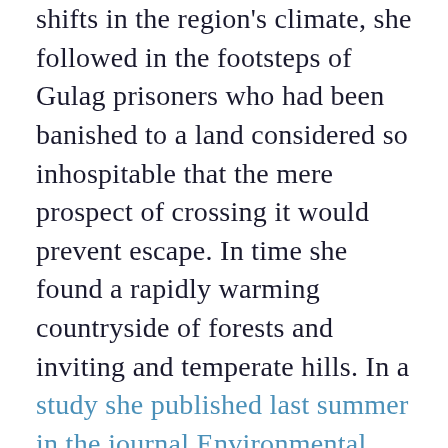shifts in the region's climate, she followed in the footsteps of Gulag prisoners who had been banished to a land considered so inhospitable that the mere prospect of crossing it would prevent escape. In time she found a rapidly warming countryside of forests and inviting and temperate hills. In a study she published last summer in the journal Environmental Research Letters, with the co-writers Elena Parfenova and Amber Soja, an American from NASA, Tchebakova estimated that by 2080, Russia's permafrost in the Asian part of the country will be reduced by more than half, at least in the active layer within six feet of the surface. One-third of its land mass would begin to switch